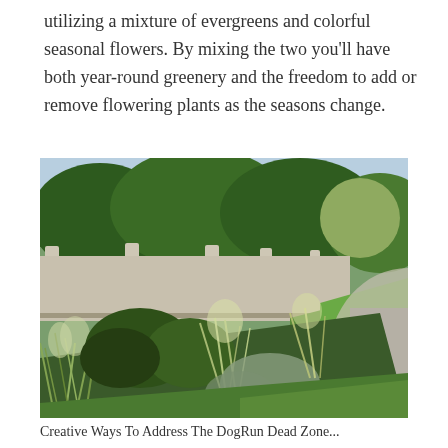utilizing a mixture of evergreens and colorful seasonal flowers. By mixing the two you'll have both year-round greenery and the freedom to add or remove flowering plants as the seasons change.
[Figure (photo): A landscaped garden bed with ornamental grasses, shrubs, and mixed plants running along a white vinyl fence. Green lawn and driveway visible on the right, with large trees in the background.]
Creative Ways To Address The DogRun Dead Zone...